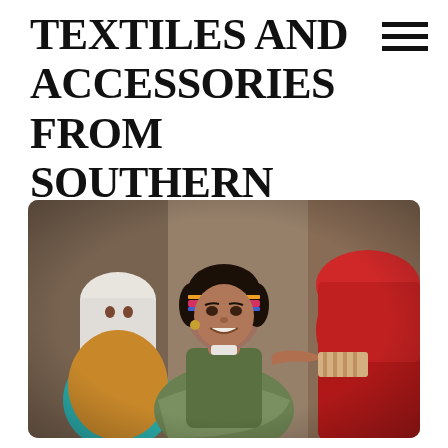TEXTILES AND ACCESSORIES FROM SOUTHERN PAKISTAN
[Figure (photo): A smiling woman wearing a decorative headband with a medallion accessory, traditional clothing in olive green dupatta. Two other women are visible in the background, one wearing a white headscarf and the other a red hijab, in an indoor setting.]